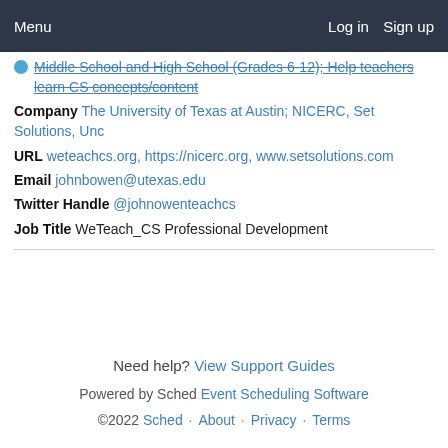Menu   Log in   Sign up
Middle School and High School (Grades 6-12); Help teachers learn CS concepts/content
Company The University of Texas at Austin; NICERC, Set Solutions, Unc
URL weteachcs.org, https://nicerc.org, www.setsolutions.com
Email johnbowen@utexas.edu
Twitter Handle @johnowenteachcs
Job Title WeTeach_CS Professional Development
Need help? View Support Guides
Powered by Sched Event Scheduling Software
©2022 Sched · About · Privacy · Terms